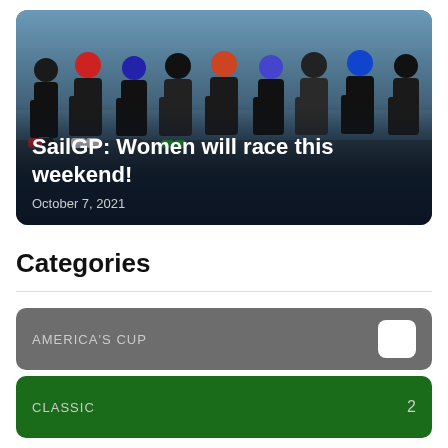[Figure (photo): Hero card showing a group of sailors/athletes in black wetsuits and helmets standing in a line, with a blue sky background. The image has a dark overlay at the bottom with white text reading 'SailGP: Women will race this weekend!' and date 'October 7, 2021'.]
SailGP: Women will race this weekend!
October 7, 2021
Categories
AMERICA'S CUP
CLASSIC 2